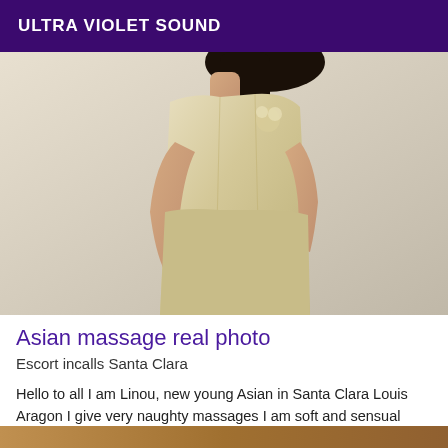ULTRA VIOLET SOUND
[Figure (photo): A woman in a golden satin floral cheongsam/qipao dress, cropped to show body without head, posing with hands at waist, dark hair visible, wearing a bracelet.]
Asian massage real photo
Escort incalls Santa Clara
Hello to all I am Linou, new young Asian in Santa Clara Louis Aragon I give very naughty massages I am soft and sensual Naughty kisses to all